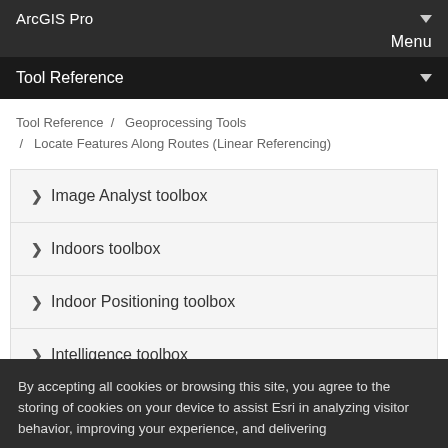ArcGIS Pro
Menu
Tool Reference
Tool Reference / Geoprocessing Tools / Locate Features Along Routes (Linear Referencing)
Image Analyst toolbox
Indoors toolbox
Indoor Positioning toolbox
Intelligence toolbox
By accepting all cookies or browsing this site, you agree to the storing of cookies on your device to assist Esri in analyzing visitor behavior, improving your experience, and delivering